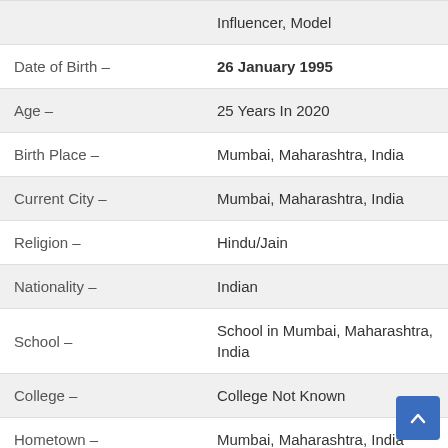| Field | Value |
| --- | --- |
|  | Influencer, Model |
| Date of Birth – | 26 January 1995 |
| Age – | 25 Years In 2020 |
| Birth Place – | Mumbai, Maharashtra, India |
| Current City – | Mumbai, Maharashtra, India |
| Religion – | Hindu/Jain |
| Nationality – | Indian |
| School – | School in Mumbai, Maharashtra, India |
| College – | College Not Known |
| Hometown – | Mumbai, Maharashtra, India |
| Educational Qualification – | Graduate |
| Family – | Father |